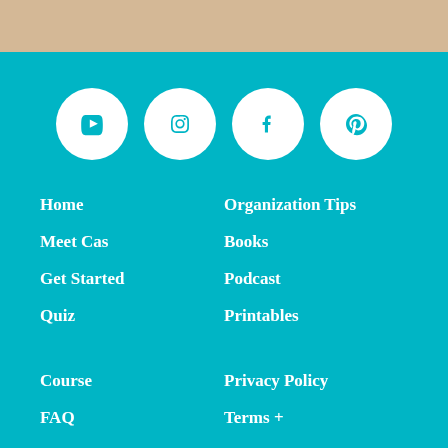[Figure (illustration): Four white circular social media icons on teal background: YouTube, Instagram, Facebook, Pinterest]
Home
Meet Cas
Get Started
Quiz
Organization Tips
Books
Podcast
Printables
Course
FAQ
Contact
Media Kit
Privacy Policy
Terms +
Conditions